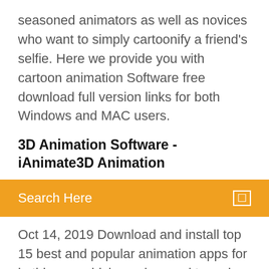seasoned animators as well as novices who want to simply cartoonify a friend's selfie. Here we provide you with cartoon animation Software free download full version links for both Windows and MAC users.
3D Animation Software - iAnimate3D Animation
Search Here
Oct 14, 2019 Download and install top 15 best and popular animation apps for in this app which can be used to make beautiful animation video for free. Download. We providing two flavors of binary builds of Synfig for all supported Synfig is a free and open-source software licensed under GNU GPL v3. Jul 18, 2018 What are the best free animation software in 2019? "Recommended 100 percent for the general public and people who want an efficient app. Start making your own 3d movies and animations with great 3d animation software from Moviestorm. Download Moviestorm Filmmaker. Download for